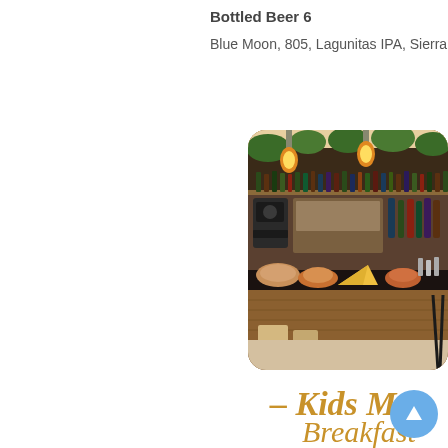Bottled Beer 6
Blue Moon, 805, Lagunitas IPA, Sierra
[Figure (photo): Interior photo of a restaurant bar with wooden countertops, liquor bottles on shelves, yellow pendant lights, green plants, and food items displayed on the counter including bread and cheese.]
– Kids Menu
Breakfast